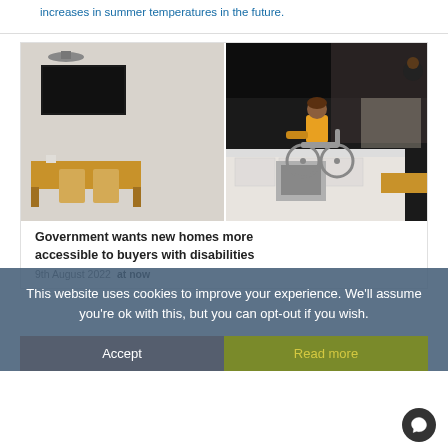increases in summer temperatures in the future.
[Figure (photo): Split image showing a modern home interior on the left with a dining table and chairs, and on the right a person in a yellow top in a wheelchair in a white kitchen.]
Government wants new homes more accessible to buyers with disabilities
9th August 2022
at now
This website uses cookies to improve your experience. We'll assume you're ok with this, but you can opt-out if you wish.
Accept
Read more